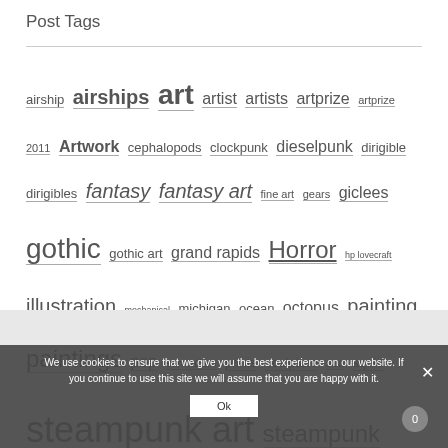Post Tags
airship airships art artist artists artprize artprize 2011 Artwork cephalopods clockpunk dieselpunk dirigible dirigibles fantasy fantasy art fine art gears giclees gothic gothic art grand rapids Horror hp lovecraft illustration mechanical michigan ocean octopus painting paintings pop surrealism prints sculpture sea squid steampunk art steampunk artist steampunk painting steampunk paintings
We use cookies to ensure that we give you the best experience on our website. If you continue to use this site we will assume that you are happy with it.
Ok